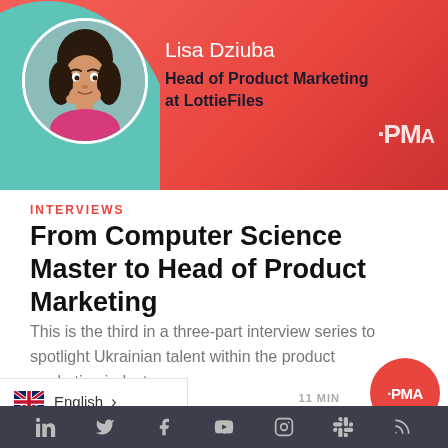[Figure (photo): Banner with red/coral background and teal accent. Circular headshot photo of Lisa Dziuba. Text: 'Lisa Dziuba, Head of Product Marketing at LottieFiles'. PMA logo in white on right side.]
INTERVIEWS
From Computer Science Master to Head of Product Marketing
This is the third in a three-part interview series to spotlight Ukrainian talent within the product marketing industry....
English >
11 MIN
LinkedIn Twitter Facebook YouTube Instagram Slack RSS